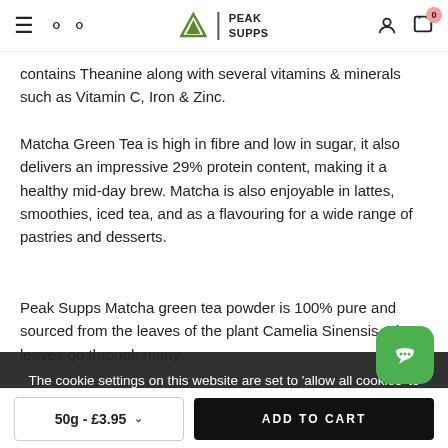Peak Supps — navigation header with hamburger menu, search, logo, user account, and cart (0 items)
contains Theanine along with several vitamins & minerals such as Vitamin C, Iron & Zinc.
Matcha Green Tea is high in fibre and low in sugar, it also delivers an impressive 29% protein content, making it a healthy mid-day brew. Matcha is also enjoyable in lattes, smoothies, iced tea, and as a flavouring for a wide range of pastries and desserts.
Peak Supps Matcha green tea powder is 100% pure and sourced from the leaves of the plant Camelia Sinensis. The leaves go through many pro...
The cookie settings on this website are set to 'allow all cookies' to give you the very best experience. Please click 'accept' to continue to use the site or find out how to manage your cookies.
Benefits of Matcha Green Tea Powder
50g - £3.95  ADD TO CART